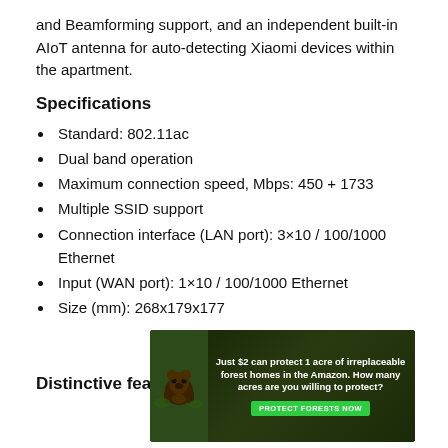and Beamforming support, and an independent built-in AIoT antenna for auto-detecting Xiaomi devices within the apartment.
Specifications
Standard: 802.11ac
Dual band operation
Maximum connection speed, Mbps: 450 + 1733
Multiple SSID support
Connection interface (LAN port): 3×10 / 100/1000 Ethernet
Input (WAN port): 1×10 / 100/1000 Ethernet
Size (mm): 268x179x177
Distinctive features
[Figure (other): Advertisement banner: Just $2 can protect 1 acre of irreplaceable forest homes in the Amazon. How many acres are you willing to protect? PROTECT FORESTS NOW]
×